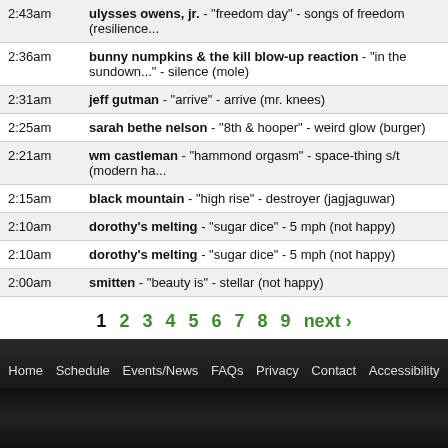| Time | Track Info |
| --- | --- |
| 2:43am | ulysses owens, jr. - "freedom day" - songs of freedom (resilience... |
| 2:36am | bunny numpkins & the kill blow-up reaction - "in the sundown..." - silence (mole) |
| 2:31am | jeff gutman - "arrive" - arrive (mr. knees) |
| 2:25am | sarah bethe nelson - "8th & hooper" - weird glow (burger) |
| 2:21am | wm castleman - "hammond orgasm" - space-thing s/t (modern ha... |
| 2:15am | black mountain - "high rise" - destroyer (jagjaguwar) |
| 2:10am | dorothy's melting - "sugar dice" - 5 mph (not happy) |
| 2:10am | dorothy's melting - "sugar dice" - 5 mph (not happy) |
| 2:00am | smitten - "beauty is" - stellar (not happy) |
1 2 3 4 5 6 7 8 9 next ›
Home  Schedule  Events/News  FAQs  Privacy  Contact  Accessibility